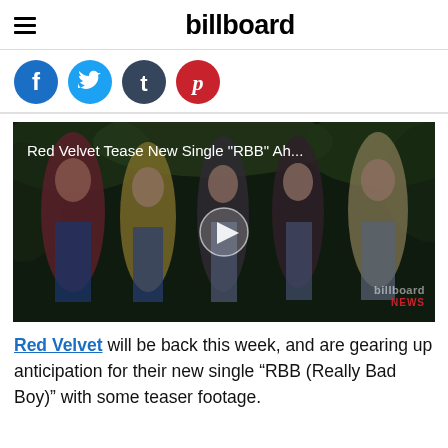billboard
[Figure (screenshot): Four social media share buttons: Facebook (blue circle with f), Twitter (blue circle with bird icon), Tumblr (dark blue circle with t), Pinterest (red circle with p)]
[Figure (photo): Video thumbnail showing five K-pop female group members (Red Velvet) posing outdoors among green foliage. Text overlay reads: Red Velvet Tease New Single "RBB" Ah... A play button is visible in the center. Billboard NEWS watermark in bottom right.]
Red Velvet will be back this week, and are gearing up anticipation for their new single “RBB (Really Bad Boy)” with some teaser footage.